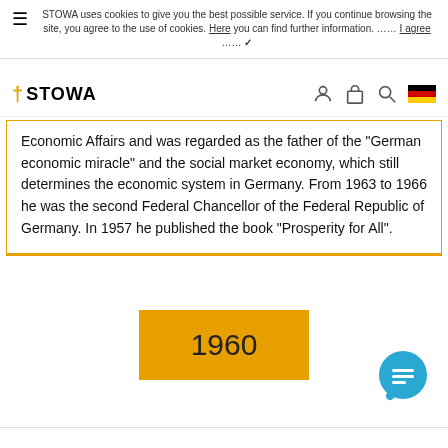STOWA uses cookies to give you the best possible service. If you continue browsing the site, you agree to the use of cookies. Here you can find further information. ..... I agree ..... ✓
[Figure (logo): STOWA logo with navigation icons (person, bag, search, German flag)]
Economic Affairs and was regarded as the father of the "German economic miracle" and the social market economy, which still determines the economic system in Germany. From 1963 to 1966 he was the second Federal Chancellor of the Federal Republic of Germany. In 1957 he published the book "Prosperity for All".
1960
[Figure (illustration): Blue circular chat bubble icon with lines indicating text]